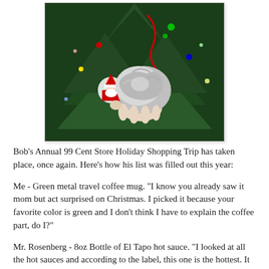[Figure (photo): A hand holding a crumpled silver metallic object (possibly a chocolate or foil-wrapped item) in front of a Christmas tree with colorful ornaments including a Santa Claus ornament and holiday lights.]
Bob's Annual 99 Cent Store Holiday Shopping Trip has taken place, once again. Here's how his list was filled out this year:
Me - Green metal travel coffee mug. "I know you already saw it mom but act surprised on Christmas. I picked it because your favorite color is green and I don't think I have to explain the coffee part, do I?"
Mr. Rosenberg - 8oz Bottle of El Tapo hot sauce. "I looked at all the hot sauces and according to the label, this one is the hottest. It has the picture with three chili peppers on it so it's probably pretty